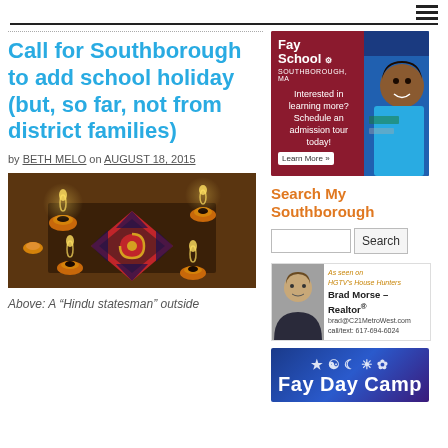☰
Call for Southborough to add school holiday (but, so far, not from district families)
by BETH MELO on AUGUST 18, 2015
[Figure (photo): Diwali celebration photo showing lit oil lamps and colorful rangoli decoration]
Above: A "Hindu statesman" outside
[Figure (illustration): Fay School advertisement: maroon and blue ad with text 'Fay School Southborough MA, Interested in learning more? Schedule an admission tour today! Learn More »' and photo of smiling student]
Search My Southborough
[Figure (other): Brad Morse Realtor ad - As seen on HGTV's House Hunters, brad@C21MetroWest.com, call/text: 617-694-6024, Century 21]
[Figure (illustration): Fay Day Camp advertisement with blue background and various icons/symbols]